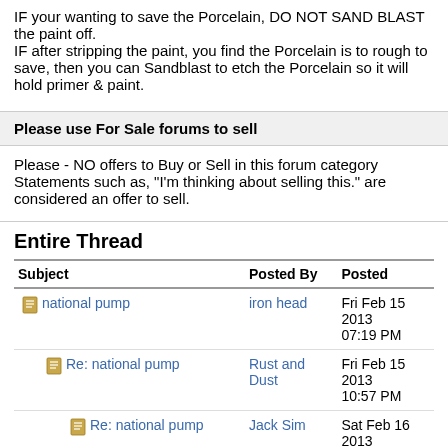IF your wanting to save the Porcelain, DO NOT SAND BLAST the paint off.
IF after stripping the paint, you find the Porcelain is to rough to save, then you can Sandblast to etch the Porcelain so it will hold primer & paint.
Please use For Sale forums to sell
Please - NO offers to Buy or Sell in this forum category Statements such as, "I'm thinking about selling this." are considered an offer to sell.
Entire Thread
| Subject | Posted By | Posted |
| --- | --- | --- |
| national pump | iron head | Fri Feb 15 2013 07:19 PM |
| Re: national pump | Rust and Dust | Fri Feb 15 2013 10:57 PM |
| Re: national pump | Jack Sim | Sat Feb 16 2013 |